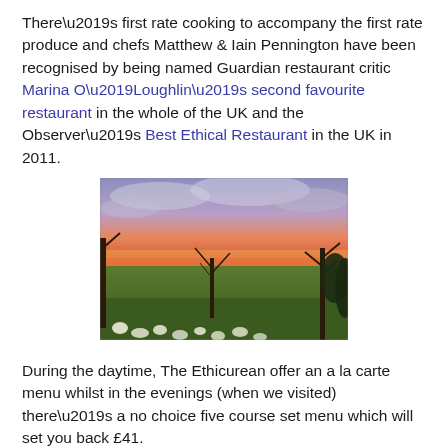There’s first rate cooking to accompany the first rate produce and chefs Matthew & Iain Pennington have been recognised by being named Guardian restaurant critic Marina O’Loughlin’s second favourite restaurant in the whole of the UK and the Observer’s Best Ethical Restaurant in the UK in 2011.
[Figure (photo): Outdoor landscape photo showing an orchard or garden scene at sunset/dusk with colourful pink and orange sky, bare trees, green grass, and white flowers (daffodils) in the foreground.]
During the daytime, The Ethicurean offer an a la carte menu whilst in the evenings (when we visited) there’s a no choice five course set menu which will set you back £41.